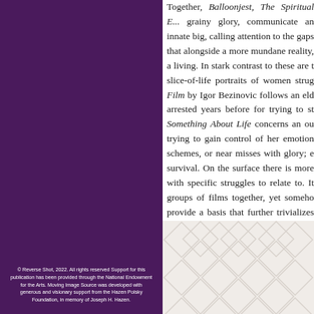Together, Balloonjest, The Spiritual E... grainy glory, communicate an innate big, calling attention to the gaps that alongside a more mundane reality, a living. In stark contrast to these are t slice-of-life portraits of women strug Film by Igor Bezinovic follows an eld arrested years before for trying to st Something About Life concerns an ou trying to gain control of her emotion schemes, or near misses with glory; e survival. On the surface there is more with specific struggles to relate to. It groups of films together, yet someho provide a basis that further trivializes American dreamers, yet with that, tha and perhaps beautiful.
[Figure (other): Diamond/chevron geometric pattern in light gray/white tones on lower right portion of page]
© Reverse Shot, 2022. All rights reserved Support for this publication has been provided through the National Endowment for the Arts. Moving Image Source was developed with generous and visionary support from the Hazen Polsky Foundation, in memory of Joseph H. Hazen.